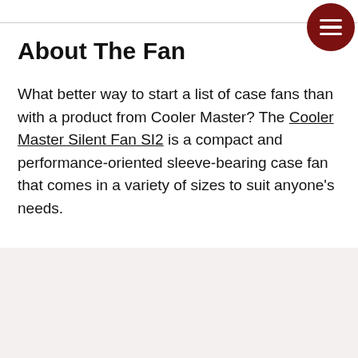About The Fan
What better way to start a list of case fans than with a product from Cooler Master? The Cooler Master Silent Fan SI2 is a compact and performance-oriented sleeve-bearing case fan that comes in a variety of sizes to suit anyone’s needs.
[Figure (photo): Product image placeholder area, light pinkish-grey background]